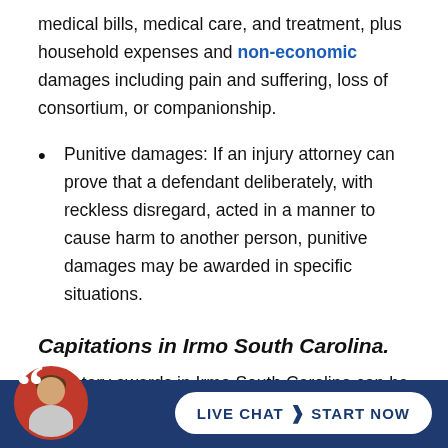medical bills, medical care, and treatment, plus household expenses and non-economic damages including pain and suffering, loss of consortium, or companionship.
Punitive damages: If an injury attorney can prove that a defendant deliberately, with reckless disregard, acted in a manner to cause harm to another person, punitive damages may be awarded in specific situations.
Capitations in Irmo South Carolina.
Monetary awards in Irmo South Carolina can be capped out depending on the type of accident, or damages obtained. For example, in catastrophic medical
[Figure (other): Live chat widget with attorney photo avatar on dark blue bar at bottom. Button reads LIVE CHAT > START NOW.]